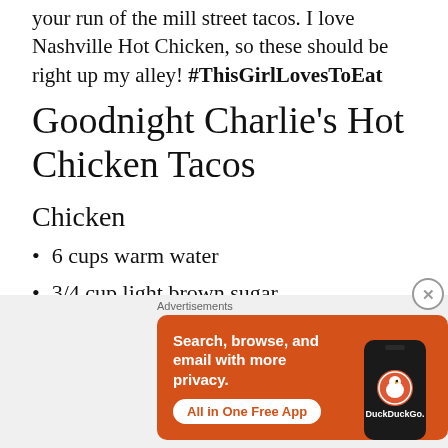your run of the mill street tacos. I love Nashville Hot Chicken, so these should be right up my alley! #ThisGirlLovesToEat
Goodnight Charlie's Hot Chicken Tacos
Chicken
6 cups warm water
3/4 cup light brown sugar
[Figure (screenshot): DuckDuckGo advertisement banner with orange background. Text reads: Search, browse, and email with more privacy. All in One Free App. Features a phone mockup with DuckDuckGo logo.]